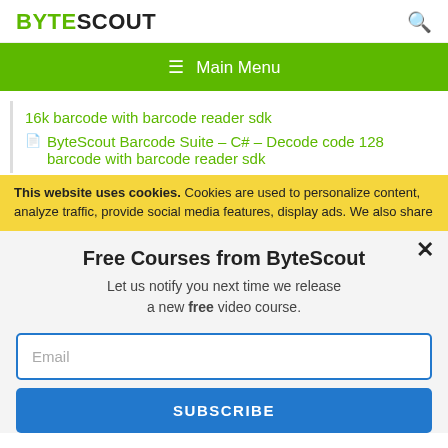BYTESCOUT
[Figure (screenshot): Green navigation bar with hamburger menu icon and 'Main Menu' text]
16k barcode with barcode reader sdk
ByteScout Barcode Suite – C# – Decode code 128 barcode with barcode reader sdk
This website uses cookies. Cookies are used to personalize content, analyze traffic, provide social media features, display ads. We also share
Free Courses from ByteScout
Let us notify you next time we release a new free video course.
Email
SUBSCRIBE